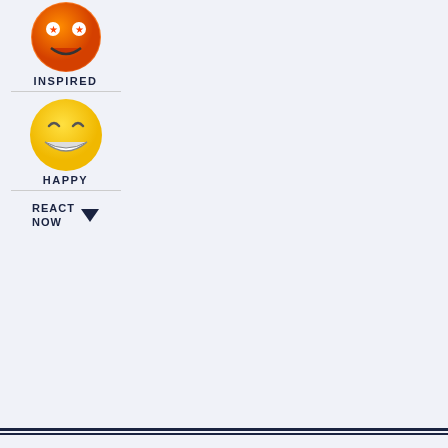[Figure (illustration): Orange emoji face labeled INSPIRED]
INSPIRED
[Figure (illustration): Yellow happy emoji face labeled HAPPY]
HAPPY
REACT NOW
RECOMMENDED STORIES
TELESERYES
WATCH: Jane de Leon teases
[Figure (photo): Photo of a woman with short black hair in a misty outdoor setting with traditional buildings]